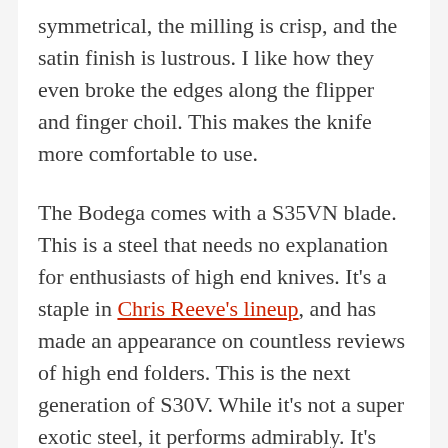symmetrical, the milling is crisp, and the satin finish is lustrous. I like how they even broke the edges along the flipper and finger choil. This makes the knife more comfortable to use.
The Bodega comes with a S35VN blade. This is a steel that needs no explanation for enthusiasts of high end knives. It's a staple in Chris Reeve's lineup, and has made an appearance on countless reviews of high end folders. This is the next generation of S30V. While it's not a super exotic steel, it performs admirably. It's easy to sharpen, holds a fine edge, and machines nicely. It's a steel that